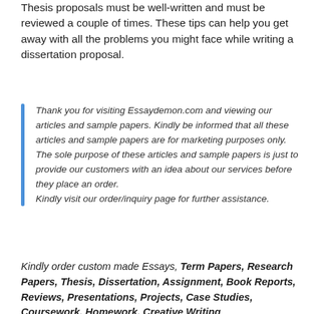Thesis proposals must be well-written and must be reviewed a couple of times. These tips can help you get away with all the problems you might face while writing a dissertation proposal.
Thank you for visiting Essaydemon.com and viewing our articles and sample papers. Kindly be informed that all these articles and sample papers are for marketing purposes only. The sole purpose of these articles and sample papers is just to provide our customers with an idea about our services before they place an order. Kindly visit our order/inquiry page for further assistance.
Kindly order custom made Essays, Term Papers, Research Papers, Thesis, Dissertation, Assignment, Book Reports, Reviews, Presentations, Projects, Case Studies, Coursework, Homework, Creative Writing